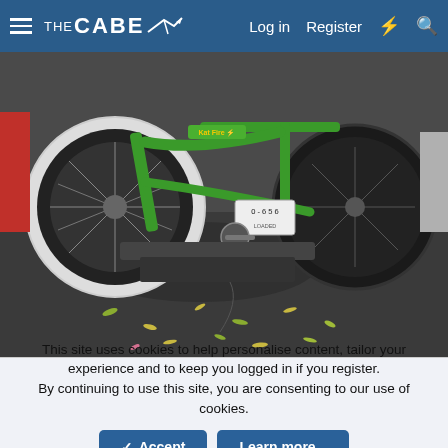THE CABE — Log in  Register ⚡ 🔍
[Figure (photo): Close-up photo of a green bicycle (labeled 'Kat Fire') mounted on a vehicle hitch rack, showing the rear wheels on asphalt with fallen leaves scattered on the ground.]
This site uses cookies to help personalise content, tailor your experience and to keep you logged in if you register.
By continuing to use this site, you are consenting to our use of cookies.
✓ Accept    Learn more...